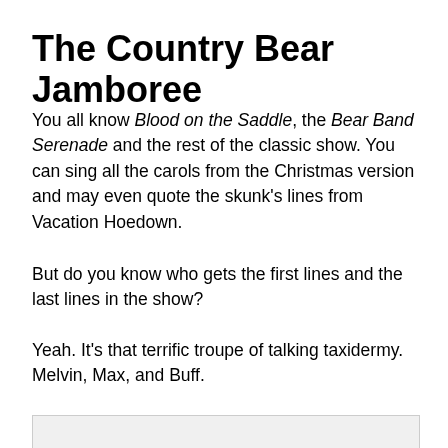The Country Bear Jamboree
You all know Blood on the Saddle, the Bear Band Serenade and the rest of the classic show. You can sing all the carols from the Christmas version and may even quote the skunk’s lines from Vacation Hoedown.
But do you know who gets the first lines and the last lines in the show?
Yeah. It’s that terrific troupe of talking taxidermy. Melvin, Max, and Buff.
[Figure (other): Gray rectangular image placeholder at bottom of page]